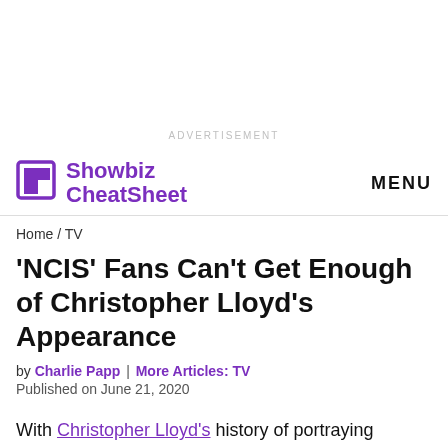ADVERTISEMENT
Showbiz CheatSheet  MENU
Home / TV
'NCIS' Fans Can't Get Enough of Christopher Lloyd's Appearance
by Charlie Papp | More Articles: TV
Published on June 21, 2020
With Christopher Lloyd's history of portraying unusual characters, NCIS looked to him to